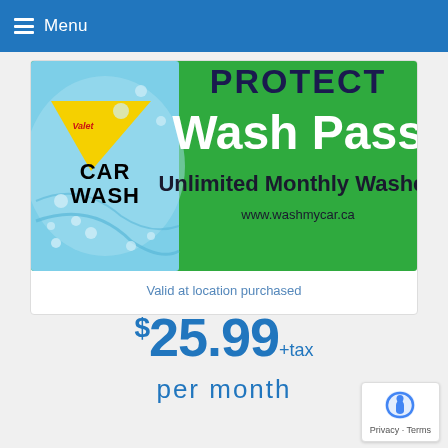Menu
[Figure (illustration): Valet Car Wash PROTECT Wash Pass card showing Unlimited Monthly Washes and www.washmycar.ca]
Valid at location purchased
$25.99 +tax
per month